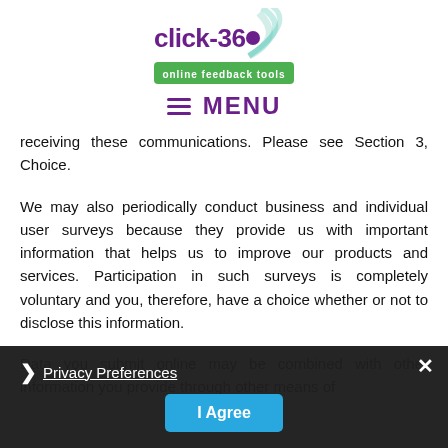[Figure (logo): click-360 online feedback tools logo with concentric arc signal graphic in teal/green and purple text]
MENU
receiving these communications. Please see Section 3, Choice.
We may also periodically conduct business and individual user surveys because they provide us with important information that helps us to improve our products and services. Participation in such surveys is completely voluntary and you, therefore, have a choice whether or not to disclose this information.
Data you submit online may be combined with other information you provide through other means of